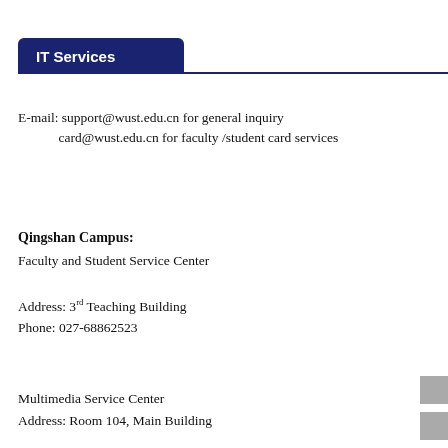IT Services
E-mail: support@wust.edu.cn for general inquiry
        card@wust.edu.cn for faculty /student card services
Qingshan Campus:
Faculty and Student Service Center
Address: 3rd Teaching Building
Phone: 027-68862523
Multimedia Service Center
Address: Room 104, Main Building